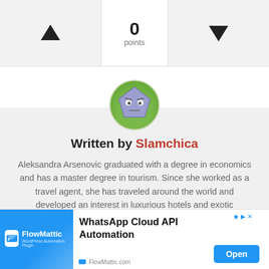[Figure (infographic): Voting widget with up arrow button, score display showing 0 points, and down arrow button]
[Figure (illustration): Circular avatar of a cartoon pentagon-shaped character with a skeptical face, green bottom background]
Written by Slamchica
Aleksandra Arsenovic graduated with a degree in economics and has a master degree in tourism. Since she worked as a travel agent, she has traveled around the world and developed an interest in luxurious hotels and exotic destinations. As a big fashion fan, Aleksandra loves expensive and luxury fashion items. As an editor of
[Figure (infographic): Advertisement banner for FlowMattic - WhatsApp Cloud API Automation with Open button]